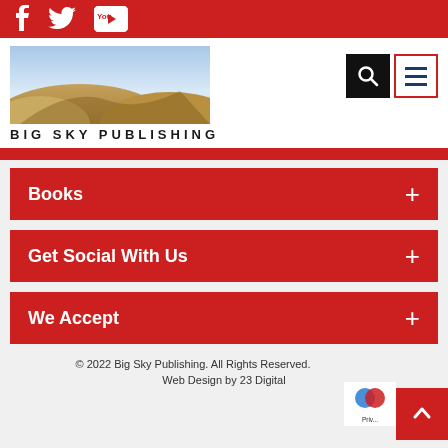Social media bar with Facebook, Twitter, YouTube icons
[Figure (screenshot): Big Sky Publishing logo — desert dunes landscape photo with BIG SKY PUBLISHING text below]
[Figure (screenshot): Search icon button (black background) and hamburger menu button (white background, red border, dark blue lines)]
Books +
Get Social With Us +
We Accept +
© 2022 Big Sky Publishing. All Rights Reserved. Web Design by 23 Digital